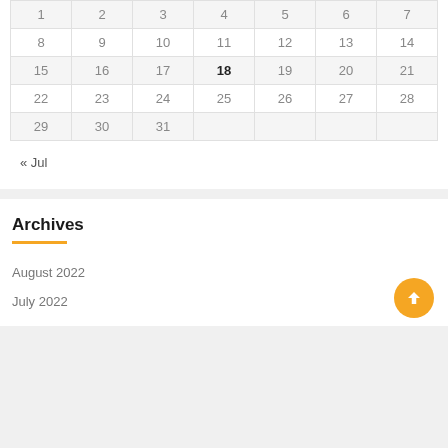|  |  |  |  |  |  |  |
| --- | --- | --- | --- | --- | --- | --- |
| 1 | 2 | 3 | 4 | 5 | 6 | 7 |
| 8 | 9 | 10 | 11 | 12 | 13 | 14 |
| 15 | 16 | 17 | 18 | 19 | 20 | 21 |
| 22 | 23 | 24 | 25 | 26 | 27 | 28 |
| 29 | 30 | 31 |  |  |  |  |
« Jul
Archives
August 2022
July 2022